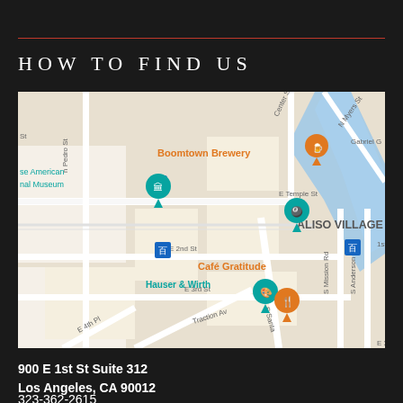HOW TO FIND US
[Figure (map): Google Maps view of the area around 900 E 1st St, Los Angeles, showing landmarks including Boomtown Brewery, Japanese American National Museum, Hauser & Wirth, Café Gratitude, and the Aliso Village neighborhood label, with street labels including E Temple St, E 2nd St, E 3rd St, E 4th Pl, Traction Ave, Center St, N Myers St, S Mission Rd, S Anderson St, Gabriel G.]
900 E 1st St Suite 312
Los Angeles, CA 90012
323-362-2615